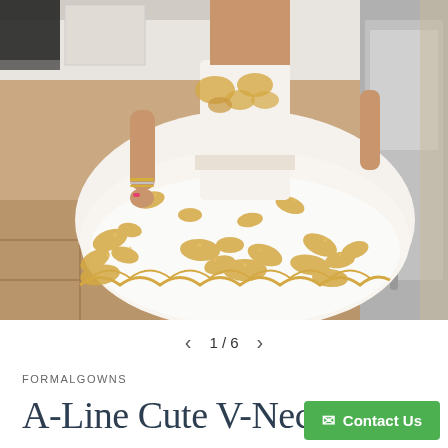[Figure (photo): Woman wearing a white and gold lace A-line short dress, standing in a kitchen. The dress has voluminous tulle skirt with gold floral embroidery/applique. Woman has pink nails and gold bracelets.]
1/6
FORMALGOWNS
A-Line Cute V-Neck
Contact Us